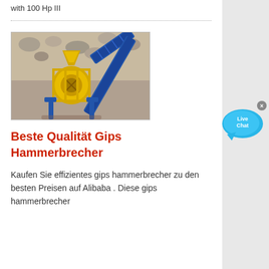with 100 Hp III
[Figure (photo): Industrial crusher machine with yellow safety railings and blue conveyor belt system on a gravel site]
Beste Qualität Gips Hammerbrecher
Kaufen Sie effizientes gips hammerbrecher zu den besten Preisen auf Alibaba . Diese gips hammerbrecher